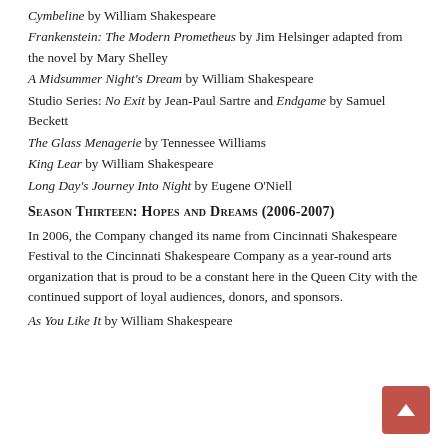Cymbeline by William Shakespeare
Frankenstein: The Modern Prometheus by Jim Helsinger adapted from the novel by Mary Shelley
A Midsummer Night's Dream by William Shakespeare
Studio Series: No Exit by Jean-Paul Sartre and Endgame by Samuel Beckett
The Glass Menagerie by Tennessee Williams
King Lear by William Shakespeare
Long Day's Journey Into Night by Eugene O'Niell
Season Thirteen: Hopes and Dreams (2006-2007)
In 2006, the Company changed its name from Cincinnati Shakespeare Festival to the Cincinnati Shakespeare Company as a year-round arts organization that is proud to be a constant here in the Queen City with the continued support of loyal audiences, donors, and sponsors.
As You Like It by William Shakespeare